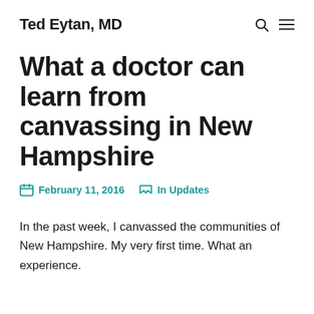Ted Eytan, MD
What a doctor can learn from canvassing in New Hampshire
February 11, 2016  In Updates
In the past week, I canvassed the communities of New Hampshire. My very first time. What an experience.